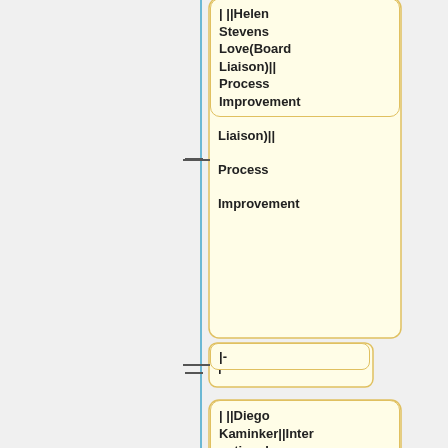| ||Helen Stevens Love(Board Liaison)||Process Improvement
|-
| ||Diego Kaminker||International Mentoring
|-
| ||John Ritter (Board Liaison)||International Mentoring
|-